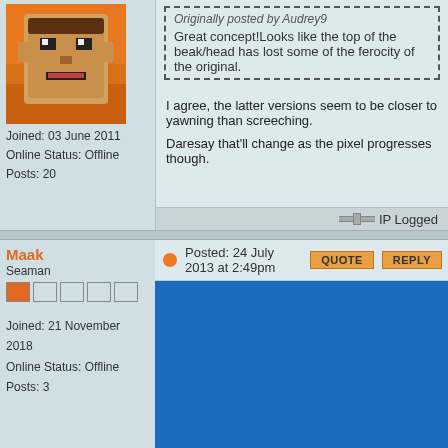[Figure (illustration): Pixel art avatar of a stylized face with orange/tan tones on an orange background]
Joined: 03 June 2011
Online Status: Offline
Posts: 20
Originally posted by Audrey9
Great concept!Looks like the top of the beak/head has lost some of the ferocity of the original.
I agree, the latter versions seem to be closer to yawning than screeching.

Daresay that'll change as the pixel progresses though.
IP Logged
Maak
Seaman
Joined: 21 November 2018
Online Status: Offline
Posts: 3
Posted: 24 July 2013 at 2:49pm
[Figure (illustration): Blue rectangle representing an embedded image or content in a forum post]